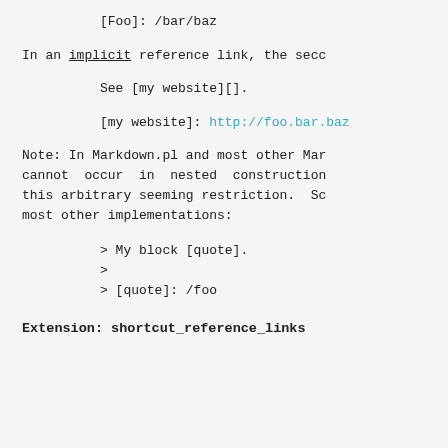[Foo]: /bar/baz
In an implicit reference link, the seco
See [my website][].
[my website]: http://foo.bar.baz
Note: In Markdown.pl and most other Mar cannot occur in nested construction this arbitrary seeming restriction. So most other implementations:
> My block [quote].
>
> [quote]: /foo
Extension: shortcut_reference_links